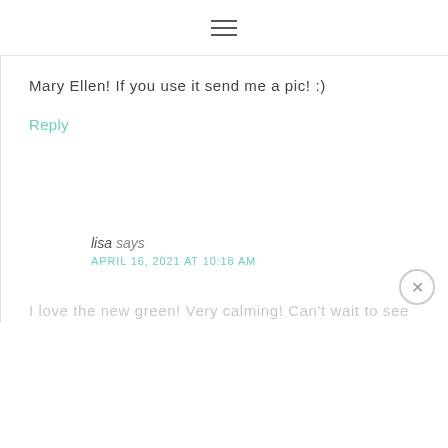≡
Mary Ellen! If you use it send me a pic! :)
Reply
lisa says
APRIL 16, 2021 AT 10:18 AM
I love the new green! Very calming! Can't wait to see